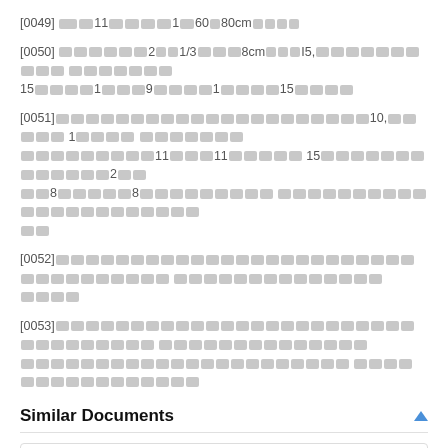[0049] [redacted] 11 [redacted] 1 [redacted] 60 [redacted] 80cm [redacted]
[0050] [redacted] 2 [redacted] 1/3 [redacted] 8cm [redacted] 15, [redacted] 15 [redacted] 1 [redacted] 9 [redacted] 1 [redacted] 15 [redacted]
[0051] [redacted] 10, [redacted] 1 [redacted] [redacted] 11 [redacted] 11 [redacted] 15 [redacted] 2 [redacted] 8 [redacted] 8 [redacted] [redacted] [redacted]
[0052] [redacted] [redacted] [redacted]
[0053] [redacted] [redacted] [redacted] [redacted]
Similar Documents
| Publication | Publication Date | Title |
| --- | --- | --- |
| CN206577081U | 2017-10-24 | [redacted] |
| CN108992274A | 2018-12-14 | [redacted] |